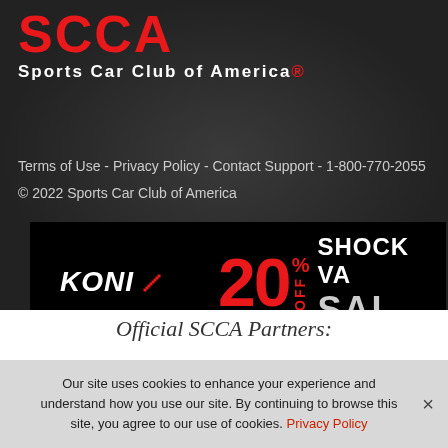[Figure (logo): SCCA Sports Car Club of America logo with red text and white subtitle on dark background]
Terms of Use - Privacy Policy - Contact Support - 1-800-770-2055
© 2022 Sports Car Club of America
[Figure (illustration): KONI advertisement banner: KONI logo on black background with '20% OFF SHOCK VALVE SALE' text in red and white]
Official SCCA Partners:
Our site uses cookies to enhance your experience and understand how you use our site. By continuing to browse this site, you agree to our use of cookies. Privacy Policy